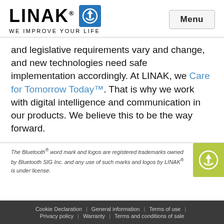[Figure (logo): LINAK logo with blue icon and tagline WE IMPROVE YOUR LIFE, plus Menu button]
and legislative requirements vary and change, and new technologies need safe implementation accordingly. At LINAK, we Care for Tomorrow Today™. That is why we work with digital intelligence and communication in our products. We believe this to be the way forward.
The Bluetooth® word mark and logos are registered trademarks owned by Bluetooth SIG Inc. and any use of such marks and logos by LINAK® is under license.
Cookie Declaration | General information | Terms of use | Privacy policy | Warranty | Terms and conditions of sale